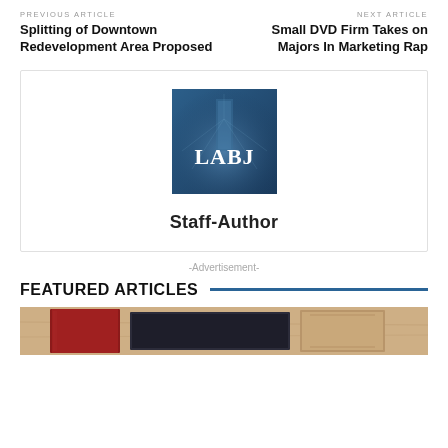PREVIOUS ARTICLE
Splitting of Downtown Redevelopment Area Proposed
NEXT ARTICLE
Small DVD Firm Takes on Majors In Marketing Rap
[Figure (logo): LABJ logo — blue square with building silhouette and LABJ text in white serif font]
Staff-Author
-Advertisement-
FEATURED ARTICLES
[Figure (photo): Photo of stacked books with red, dark blue, and tan covers on a wooden surface]